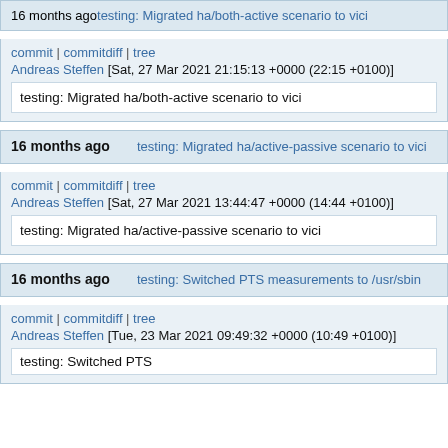16 months ago   testing: Migrated ha/both-active scenario to vici
commit | commitdiff | tree
Andreas Steffen [Sat, 27 Mar 2021 21:15:13 +0000 (22:15 +0100)]
testing: Migrated ha/both-active scenario to vici
16 months ago   testing: Migrated ha/active-passive scenario to vici
commit | commitdiff | tree
Andreas Steffen [Sat, 27 Mar 2021 13:44:47 +0000 (14:44 +0100)]
testing: Migrated ha/active-passive scenario to vici
16 months ago   testing: Switched PTS measurements to /usr/sbin
commit | commitdiff | tree
Andreas Steffen [Tue, 23 Mar 2021 09:49:32 +0000 (10:49 +0100)]
testing: Switched PTS...